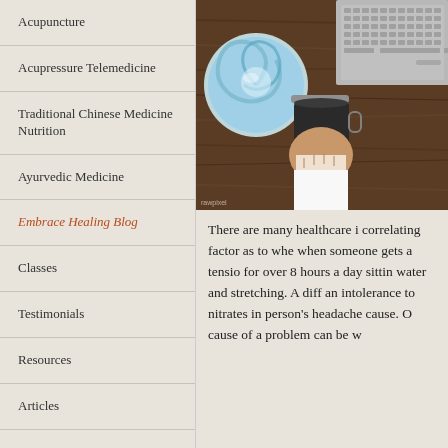Acupuncture
Acupressure Telemedicine
Traditional Chinese Medicine Nutrition
Ayurvedic Medicine
Embrace Healing Blog
Classes
Testimonials
Resources
Articles
[Figure (photo): Overhead view of a wooden desk with a laptop keyboard, a bowl with blue swirled pattern, a hand holding a dark coffee mug, on a wooden surface]
There are many healthcare i correlating factor as to whe when someone gets a tensio for over 8 hours a day sittin water and stretching. A diff an intolerance to nitrates in person's headache cause. O cause of a problem can be w